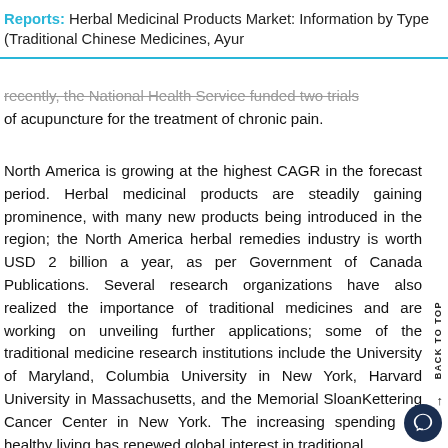Reports: Herbal Medicinal Products Market: Information by Type (Traditional Chinese Medicines, Ayur
recently, the National Health Service funded two trials of acupuncture for the treatment of chronic pain.
North America is growing at the highest CAGR in the forecast period. Herbal medicinal products are steadily gaining prominence, with many new products being introduced in the region; the North America herbal remedies industry is worth USD 2 billion a year, as per Government of Canada Publications. Several research organizations have also realized the importance of traditional medicines and are working on unveiling further applications; some of the traditional medicine research institutions include the University of Maryland, Columbia University in New York, Harvard University in Massachusetts, and the Memorial SloanKettering Cancer Center in New York. The increasing spending on healthy living has renewed global interest in traditional